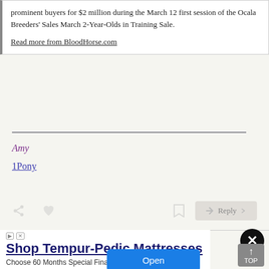prominent buyers for $2 million during the March 12 first session of the Ocala Breeders' Sales March 2-Year-Olds in Training Sale.
Read more from BloodHorse.com
Amy
1Pony
Reply
Shop Tempur-Pedic Mattresses
Choose 60 Months Special Financing Today
Ashley
Open
TOP